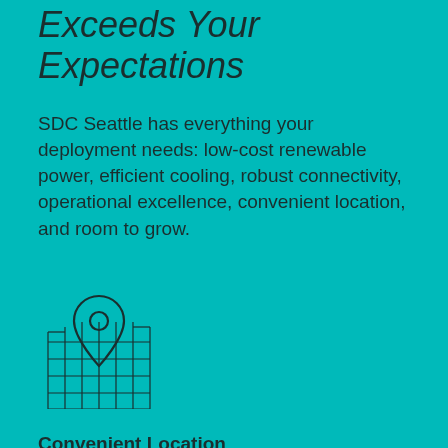Exceeds Your Expectations
SDC Seattle has everything your deployment needs: low-cost renewable power, efficient cooling, robust connectivity, operational excellence, convenient location, and room to grow.
[Figure (illustration): Line-art icon of a map location pin overlaid on a grid/map background]
Convenient Location
Your deployment will exceed its potential with the